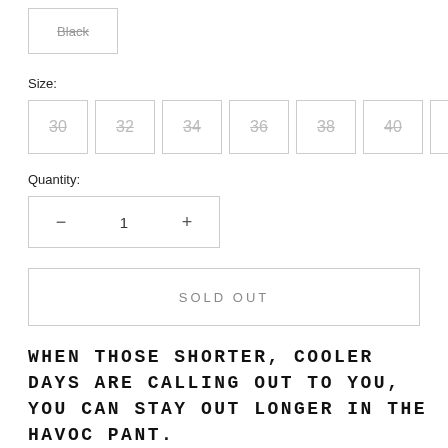Black
Size:
30  32  34  36  38  40  28
Quantity:
— 1 +
SOLD OUT
WHEN THOSE SHORTER, COOLER DAYS ARE CALLING OUT TO YOU, YOU CAN STAY OUT LONGER IN THE HAVOC PANT.